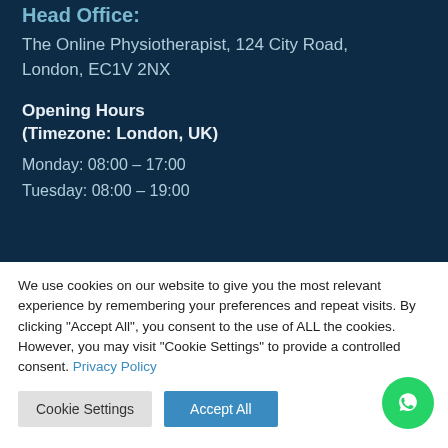Head Office:
The Online Physiotherapist, 124 City Road, London, EC1V 2NX
Opening Hours
(Timezone: London, UK)
Monday: 08:00 – 17:00
Tuesday: 08:00 – 19:00
We use cookies on our website to give you the most relevant experience by remembering your preferences and repeat visits. By clicking "Accept All", you consent to the use of ALL the cookies. However, you may visit "Cookie Settings" to provide a controlled consent. Privacy Policy
Cookie Settings | Accept All